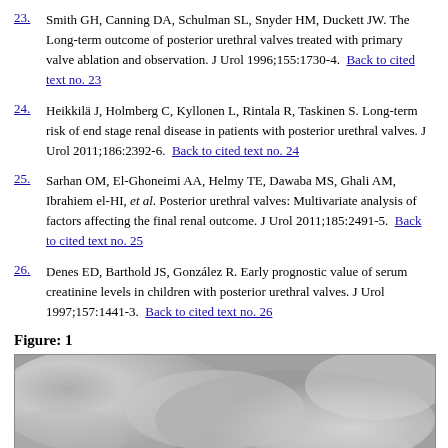23. Smith GH, Canning DA, Schulman SL, Snyder HM, Duckett JW. The Long-term outcome of posterior urethral valves treated with primary valve ablation and observation. J Urol 1996;155:1730-4. Back to cited text no. 23
24. Heikkilä J, Holmberg C, Kyllonen L, Rintala R, Taskinen S. Long-term risk of end stage renal disease in patients with posterior urethral valves. J Urol 2011;186:2392-6. Back to cited text no. 24
25. Sarhan OM, El-Ghoneimi AA, Helmy TE, Dawaba MS, Ghali AM, Ibrahiem el-HI, et al. Posterior urethral valves: Multivariate analysis of factors affecting the final renal outcome. J Urol 2011;185:2491-5. Back to cited text no. 25
26. Denes ED, Barthold JS, González R. Early prognostic value of serum creatinine levels in children with posterior urethral valves. J Urol 1997;157:1441-3. Back to cited text no. 26
Figure: 1
[Figure (photo): Grayscale medical image, likely a radiograph or ultrasound showing cloudy/hazy structures]